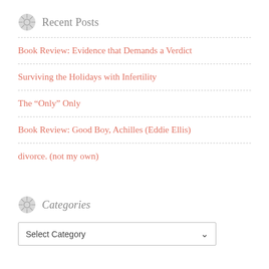Recent Posts
Book Review: Evidence that Demands a Verdict
Surviving the Holidays with Infertility
The “Only” Only
Book Review: Good Boy, Achilles (Eddie Ellis)
divorce. (not my own)
Categories
Select Category
Archives